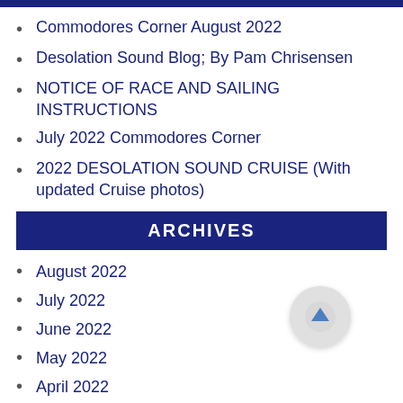Commodores Corner August 2022
Desolation Sound Blog; By Pam Chrisensen
NOTICE OF RACE AND SAILING INSTRUCTIONS
July 2022 Commodores Corner
2022 DESOLATION SOUND CRUISE (With updated Cruise photos)
ARCHIVES
August 2022
July 2022
June 2022
May 2022
April 2022
March 2022
February 2022